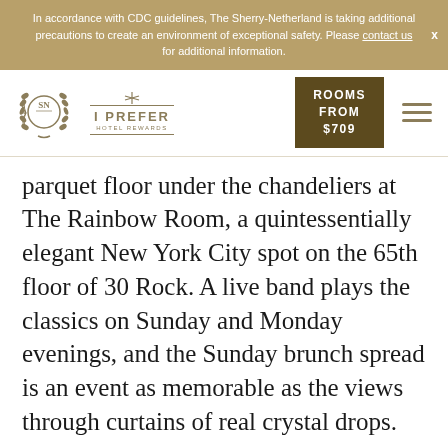In accordance with CDC guidelines, The Sherry-Netherland is taking additional precautions to create an environment of exceptional safety. Please contact us for additional information.
[Figure (logo): Sherry-Netherland SN logo in wreath, I Prefer Hotel Rewards logo, Rooms From $709 button, hamburger menu icon]
parquet floor under the chandeliers at The Rainbow Room, a quintessentially elegant New York City spot on the 65th floor of 30 Rock. A live band plays the classics on Sunday and Monday evenings, and the Sunday brunch spread is an event as memorable as the views through curtains of real crystal drops.
4. Wollman Rink, Central Park
Skyline scenery, skating, and selfies make a